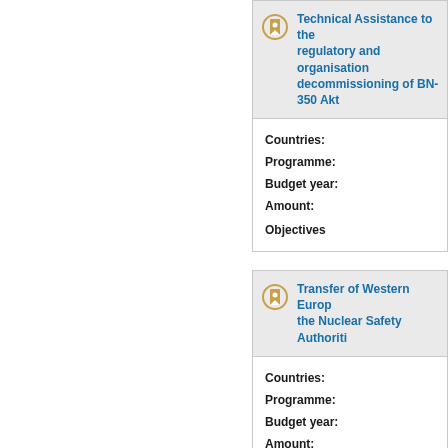Technical Assistance to the regulatory and organisation decommissioning of BN-350 Akt
Countries:
Programme:
Budget year:
Amount:
Objectives
Transfer of Western Europ the Nuclear Safety Authoriti
Countries:
Programme:
Budget year:
Amount:
Objective RF/RA/04
The objective of this project...